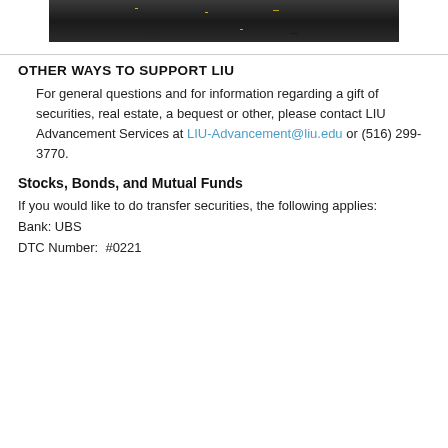[Figure (photo): Crowd of graduation attendees wearing black gowns and yellow/gold accessories, viewed from above or at crowd level.]
OTHER WAYS TO SUPPORT LIU
For general questions and for information regarding a gift of securities, real estate, a bequest or other, please contact LIU Advancement Services at LIU-Advancement@liu.edu or (516) 299-3770.
Stocks, Bonds, and Mutual Funds
If you would like to do transfer securities, the following applies:
Bank: UBS
DTC Number:  #0221